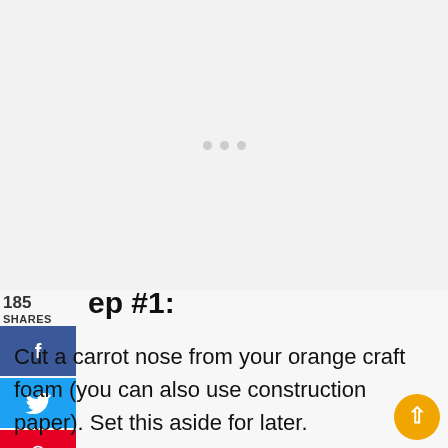[Figure (other): Light gray placeholder image area with three small gray dots in the center indicating loading or carousel]
185
SHARES
[Figure (other): Social share sidebar buttons: Facebook (blue), Twitter (blue), Pinterest (red) with count 185]
Step #1:
Cut a carrot nose from your orange craft foam (you can also use construction paper). Set this aside for later.